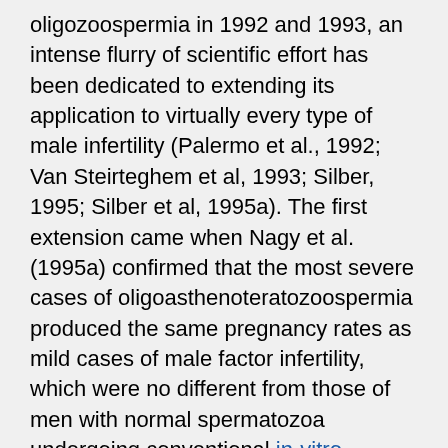oligozoospermia in 1992 and 1993, an intense flurry of scientific effort has been dedicated to extending its application to virtually every type of male infertility (Palermo et al., 1992; Van Steirteghem et al, 1993; Silber, 1995; Silber et al, 1995a). The first extension came when Nagy et al. (1995a) confirmed that the most severe cases of oligoasthenoteratozoospermia produced the same pregnancy rates as mild cases of male factor infertility, which were no different from those of men with normal spermatozoa undergoing conventional in-vitro fertilization (IVF). Liu et al. (1994a) then demonstrated that the way in which the spermatozoa are pre-treated prior to ICSI is immaterial, and that any method for aspirating the spermatozoa into an injection pipette and transferring them into the oocytes is adequate. Liu et al. (1995) also reported that fertilization failure was always related either to poor egg quality or to sperm non-viability. It appeared that neither the most severe morphological defect, nor the most severe motility defect, nor the tiniest number of spermatozoa in